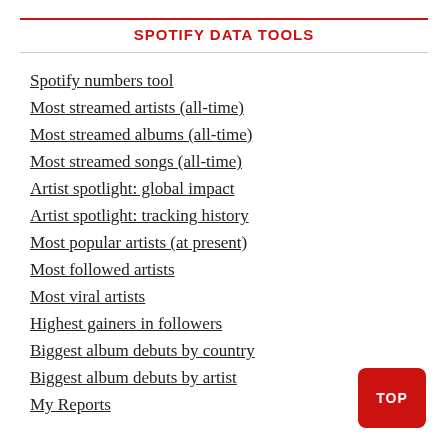SPOTIFY DATA TOOLS
Spotify numbers tool
Most streamed artists (all-time)
Most streamed albums (all-time)
Most streamed songs (all-time)
Artist spotlight: global impact
Artist spotlight: tracking history
Most popular artists (at present)
Most followed artists
Most viral artists
Highest gainers in followers
Biggest album debuts by country
Biggest album debuts by artist
My Reports